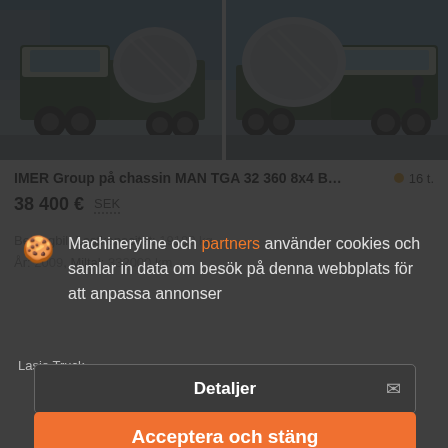[Figure (photo): Two cement mixer trucks (MAN TGA) side by side, green and white, parked outdoors. Left truck shows front-left view, right truck shows front-right view.]
IMER Group på chassin MAN TGA 32 360 8x4 B…   16 t.
38 400 €  SEK
Betongbil, Lastkapacitet: 19180 kg
År: 2009, Miltal: 332000 km
Lasio Truck
Machineryline och partners använder cookies och samlar in data om besök på denna webbplats för att anpassa annonser
Detaljer
Acceptera och stäng